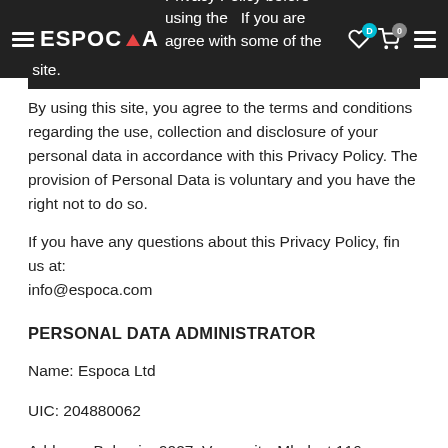ESPOCA — Privacy Policy before using the … If you are … agree with some of the conditions, you don't have to use this web site.
By using this site, you agree to the terms and conditions regarding the use, collection and disclosure of your personal data in accordance with this Privacy Policy. The provision of Personal Data is voluntary and you have the right not to do so.
If you have any questions about this Privacy Policy, fin us at: info@espoca.com
PERSONAL DATA ADMINISTRATOR
Name: Espoca Ltd
UIC: 204880062
Address: Bulgaria, 9027, Varna city, Mladost 116
Email: info@espoca.com